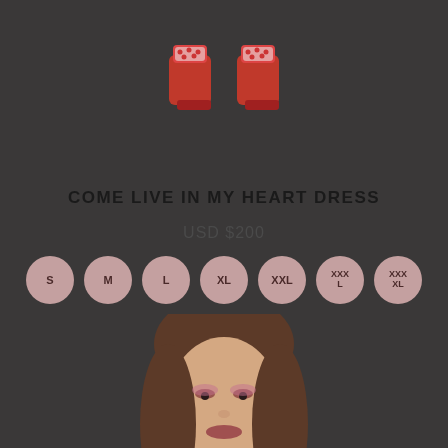[Figure (photo): Top portion of red platform shoes with polka dot detail on a dark background]
COME LIVE IN MY HEART DRESS
USD $200
S  M  L  XL  XXL  XXXL  XXXL
[Figure (photo): Portrait of a woman with long brown hair, dramatic pink eye makeup, on a dark background. Small eye logo in bottom right corner.]